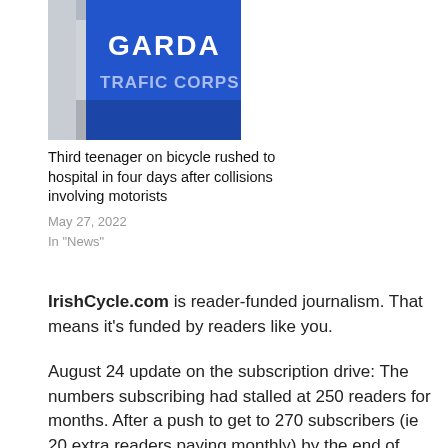[Figure (photo): Close-up of a person wearing a blue Garda Traffic Corps vest/jacket]
Third teenager on bicycle rushed to hospital in four days after collisions involving motorists
May 27, 2022
In "News"
IrishCycle.com is reader-funded journalism. That means it's funded by readers like you.
August 24 update on the subscription drive: The numbers subscribing had stalled at 250 readers for months. After a push to get to 270 subscribers (ie 20 extra readers paying monthly) by the end of August, the target was reached ahead of time (thank you!)